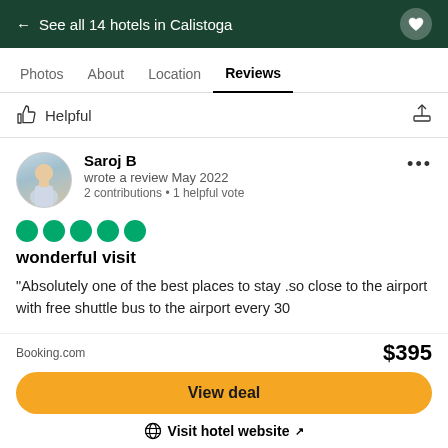← See all 14 hotels in Calistoga
Photos   About   Location   Reviews
Helpful
Saroj B
wrote a review May 2022
2 contributions • 1 helpful vote
wonderful visit
"Absolutely one of the best places to stay .so close to the airport with free shuttle bus to the airport every 30
Booking.com   $395
View deal
Visit hotel website ↗